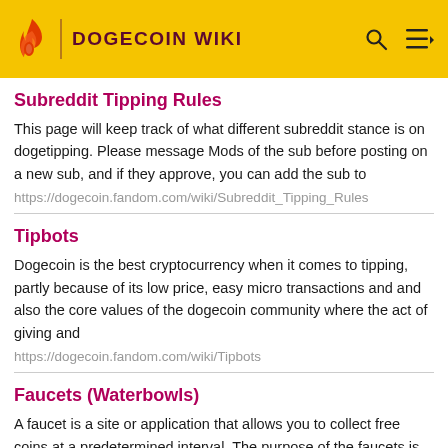DOGECOIN WIKI
Subreddit Tipping Rules
This page will keep track of what different subreddit stance is on dogetipping. Please message Mods of the sub before posting on a new sub, and if they approve, you can add the sub to
https://dogecoin.fandom.com/wiki/Subreddit_Tipping_Rules
Tipbots
Dogecoin is the best cryptocurrency when it comes to tipping, partly because of its low price, easy micro transactions and and also the core values of the dogecoin community where the act of giving and
https://dogecoin.fandom.com/wiki/Tipbots
Faucets (Waterbowls)
A faucet is a site or application that allows you to collect free coins at a predetermined interval. The purpose of the faucets is